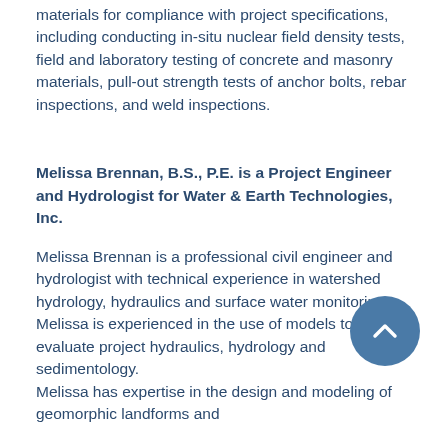materials for compliance with project specifications, including conducting in-situ nuclear field density tests, field and laboratory testing of concrete and masonry materials, pull-out strength tests of anchor bolts, rebar inspections, and weld inspections.
Melissa Brennan, B.S., P.E. is a Project Engineer and Hydrologist for Water & Earth Technologies, Inc.
Melissa Brennan is a professional civil engineer and hydrologist with technical experience in watershed hydrology, hydraulics and surface water monitoring. Melissa is experienced in the use of models to evaluate project hydraulics, hydrology and sedimentology.
Melissa has expertise in the design and modeling of geomorphic landforms and